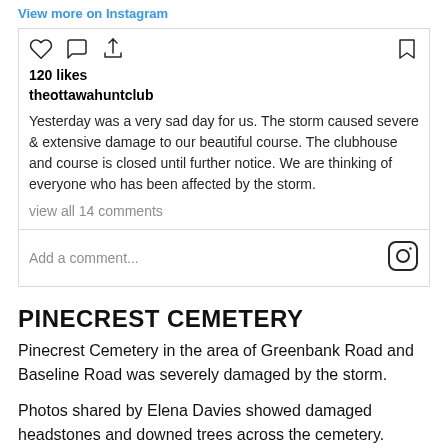View more on Instagram
[Figure (screenshot): Instagram post interaction icons: heart, comment bubble, share arrow (left side); bookmark (right side)]
120 likes
theottawahuntclub
Yesterday was a very sad day for us. The storm caused severe & extensive damage to our beautiful course. The clubhouse and course is closed until further notice. We are thinking of everyone who has been affected by the storm.
view all 14 comments
Add a comment...
PINECREST CEMETERY
Pinecrest Cemetery in the area of Greenbank Road and Baseline Road was severely damaged by the storm.
Photos shared by Elena Davies showed damaged headstones and downed trees across the cemetery.